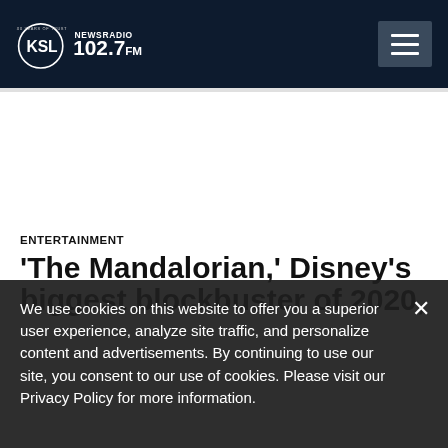KSL NewsRadio 102.7FM — 100 Years of Trust
ENTERTAINMENT
'The Mandalorian,' Disney's biggest blockbuster of 2020,
We use cookies on this website to offer you a superior user experience, analyze site traffic, and personalize content and advertisements. By continuing to use our site, you consent to our use of cookies. Please visit our Privacy Policy for more information.